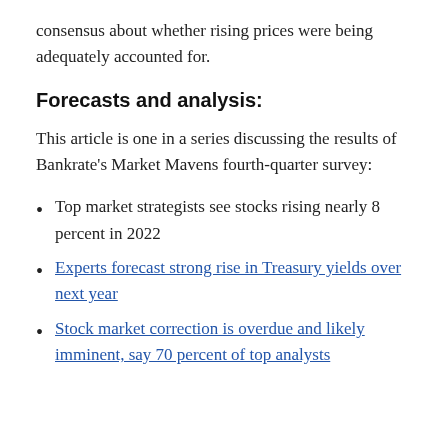consensus about whether rising prices were being adequately accounted for.
Forecasts and analysis:
This article is one in a series discussing the results of Bankrate's Market Mavens fourth-quarter survey:
Top market strategists see stocks rising nearly 8 percent in 2022
Experts forecast strong rise in Treasury yields over next year
Stock market correction is overdue and likely imminent, say 70 percent of top analysts